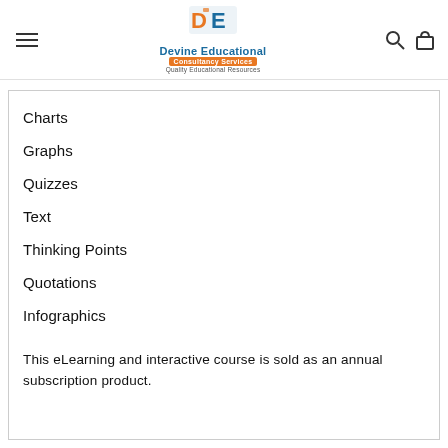Devine Educational Consultancy Services — Quality Educational Resources
Charts
Graphs
Quizzes
Text
Thinking Points
Quotations
Infographics
This eLearning and interactive course is sold as an annual subscription product.